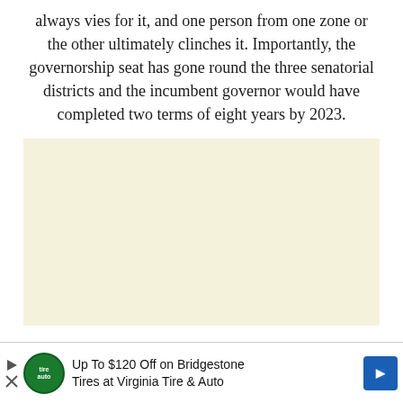always vies for it, and one person from one zone or the other ultimately clinches it. Importantly, the governorship seat has gone round the three senatorial districts and the incumbent governor would have completed two terms of eight years by 2023.
[Figure (other): A blank cream/beige colored rectangular placeholder image]
Up To $120 Off on Bridgestone Tires at Virginia Tire & Auto